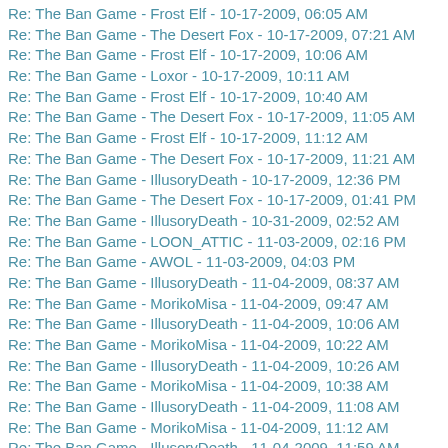Re: The Ban Game - Frost Elf - 10-17-2009, 06:05 AM
Re: The Ban Game - The Desert Fox - 10-17-2009, 07:21 AM
Re: The Ban Game - Frost Elf - 10-17-2009, 10:06 AM
Re: The Ban Game - Loxor - 10-17-2009, 10:11 AM
Re: The Ban Game - Frost Elf - 10-17-2009, 10:40 AM
Re: The Ban Game - The Desert Fox - 10-17-2009, 11:05 AM
Re: The Ban Game - Frost Elf - 10-17-2009, 11:12 AM
Re: The Ban Game - The Desert Fox - 10-17-2009, 11:21 AM
Re: The Ban Game - IllusoryDeath - 10-17-2009, 12:36 PM
Re: The Ban Game - The Desert Fox - 10-17-2009, 01:41 PM
Re: The Ban Game - IllusoryDeath - 10-31-2009, 02:52 AM
Re: The Ban Game - LOON_ATTIC - 11-03-2009, 02:16 PM
Re: The Ban Game - AWOL - 11-03-2009, 04:03 PM
Re: The Ban Game - IllusoryDeath - 11-04-2009, 08:37 AM
Re: The Ban Game - MorikoMisa - 11-04-2009, 09:47 AM
Re: The Ban Game - IllusoryDeath - 11-04-2009, 10:06 AM
Re: The Ban Game - MorikoMisa - 11-04-2009, 10:22 AM
Re: The Ban Game - IllusoryDeath - 11-04-2009, 10:26 AM
Re: The Ban Game - MorikoMisa - 11-04-2009, 10:38 AM
Re: The Ban Game - IllusoryDeath - 11-04-2009, 11:08 AM
Re: The Ban Game - MorikoMisa - 11-04-2009, 11:12 AM
Re: The Ban Game - IllusoryDeath - 11-04-2009, 11:59 AM
Re: The Ban Game - MorikoMisa - 11-04-2009, 02:17 PM